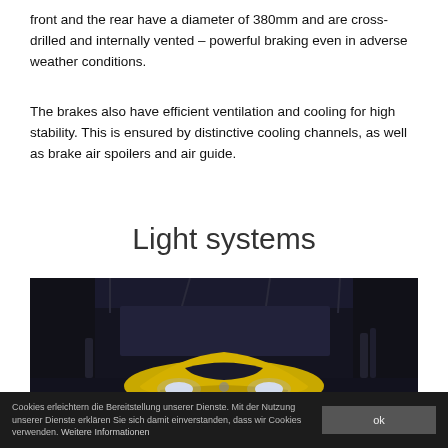front and the rear have a diameter of 380mm and are cross-drilled and internally vented – powerful braking even in adverse weather conditions.
The brakes also have efficient ventilation and cooling for high stability. This is ensured by distinctive cooling channels, as well as brake air spoilers and air guide.
Light systems
[Figure (photo): A yellow sports car (Porsche) photographed from the front with headlights on in a dark industrial building.]
Cookies erleichtern die Bereitstellung unserer Dienste. Mit der Nutzung unserer Dienste erklären Sie sich damit einverstanden, dass wir Cookies verwenden. Weitere Informationen